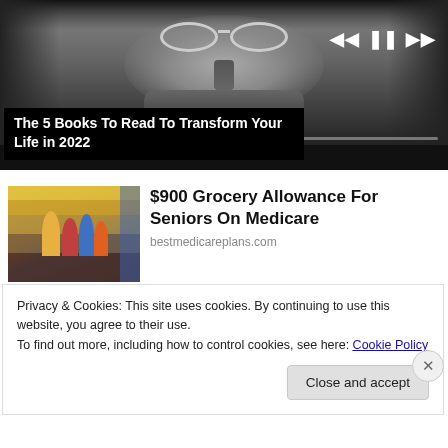[Figure (screenshot): Black and white close-up photo of a man with glasses and beard, used as media player background with playback controls (skip back, pause, skip forward) and a progress bar.]
The 5 Books To Read To Transform Your Life in 2022
[Figure (photo): Color photo of people shopping in a grocery store with shopping carts in aisles, ad for $900 Grocery Allowance for Seniors on Medicare from bestmedicareplans.com]
$900 Grocery Allowance For Seniors On Medicare
bestmedicareplans.com
Privacy & Cookies: This site uses cookies. By continuing to use this website, you agree to their use.
To find out more, including how to control cookies, see here: Cookie Policy
Close and accept